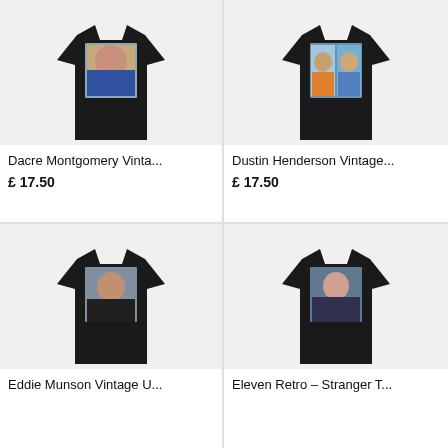[Figure (photo): Black vintage-style t-shirt with photo print - Dacre Montgomery]
Dacre Montgomery Vinta...
£ 17.50
[Figure (photo): Black vintage-style t-shirt with photo print - Dustin Henderson]
Dustin Henderson Vintage...
£ 17.50
[Figure (photo): Black vintage-style t-shirt with photo print - Eddie Munson]
Eddie Munson Vintage U...
[Figure (photo): Black vintage-style t-shirt with photo print - Eleven Retro Stranger Things]
Eleven Retro – Stranger T...